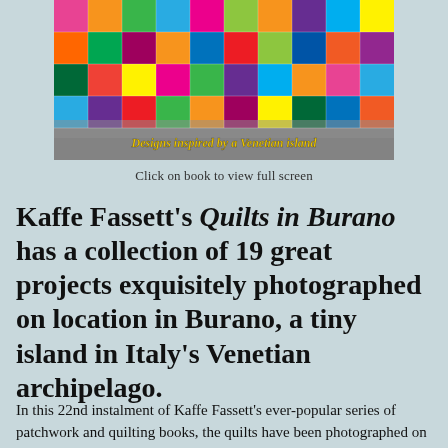[Figure (photo): Colorful patchwork quilt photograph with text overlay reading 'Designs inspired by a Venetian island' in yellow italic font]
Click on book to view full screen
Kaffe Fassett's Quilts in Burano has a collection of 19 great projects exquisitely photographed on location in Burano, a tiny island in Italy's Venetian archipelago.
In this 22nd instalment of Kaffe Fassett's ever-popular series of patchwork and quilting books, the quilts have been photographed on location in Burano, a tiny island in Italy's Venetian